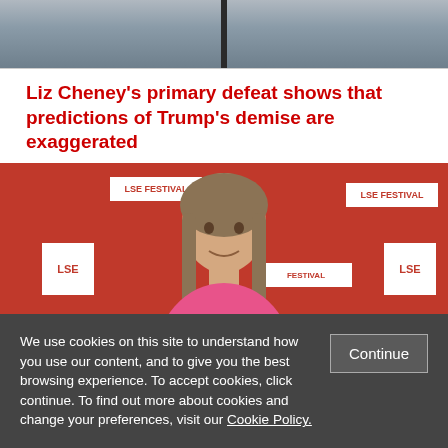[Figure (photo): Top portion of an outdoor photo showing a cloudy sky and a dark pole]
Liz Cheney's primary defeat shows that predictions of Trump's demise are exaggerated
[Figure (photo): Woman standing in front of a red LSE Festival branded backdrop, wearing a pink top, with straight brown hair]
We use cookies on this site to understand how you use our content, and to give you the best browsing experience. To accept cookies, click continue. To find out more about cookies and change your preferences, visit our Cookie Policy.